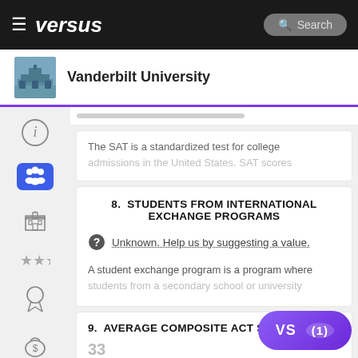versus — Vanderbilt University
The SAT is a standardized test for college admissions in the United States. SAT scores
8. STUDENTS FROM INTERNATIONAL EXCHANGE PROGRAMS
Unknown. Help us by suggesting a value.
A student exchange program is a program where students from a secondary school or university
9. AVERAGE COMPOSITE ACT SCORE
33